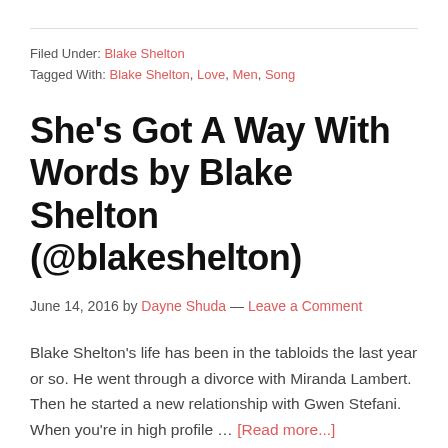Filed Under: Blake Shelton
Tagged With: Blake Shelton, Love, Men, Song
She's Got A Way With Words by Blake Shelton (@blakeshelton)
June 14, 2016 by Dayne Shuda — Leave a Comment
Blake Shelton's life has been in the tabloids the last year or so. He went through a divorce with Miranda Lambert. Then he started a new relationship with Gwen Stefani. When you're in high profile … [Read more...]